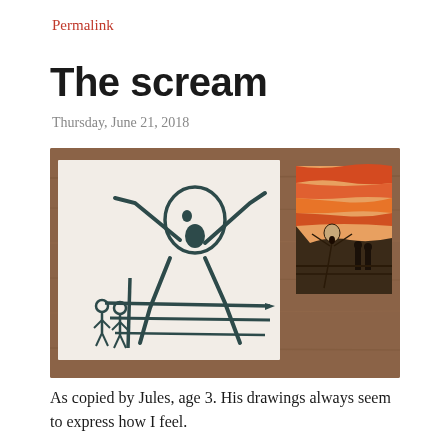Permalink
The scream
Thursday, June 21, 2018
[Figure (photo): A photo of a wooden table with two pieces of paper. The larger paper contains a child's drawing (marker) recreating Edvard Munch's The Scream — showing a central screaming figure with arms raised to the sides of its head and two smaller stick figures in the lower left. The smaller card on the right shows a reproduction of Edvard Munch's original 'The Scream' painting with orange and red swirling sky.]
As copied by Jules, age 3. His drawings always seem to express how I feel.